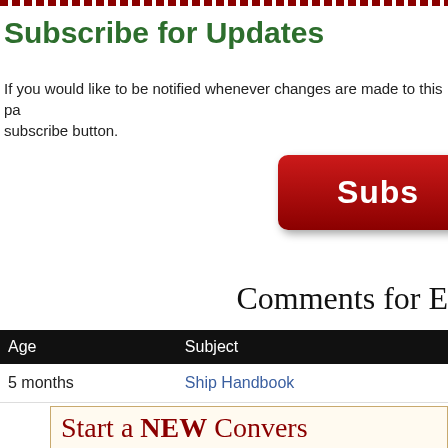Subscribe for Updates
If you would like to be notified whenever changes are made to this page, subscribe button.
[Figure (other): Red Subscribe button with white bold text reading 'Subs...' (partially visible), rounded rectangle with drop shadow]
Comments for E...
| Age | Subject |
| --- | --- |
| 5 months | Ship Handbook |
Start a NEW Convers...